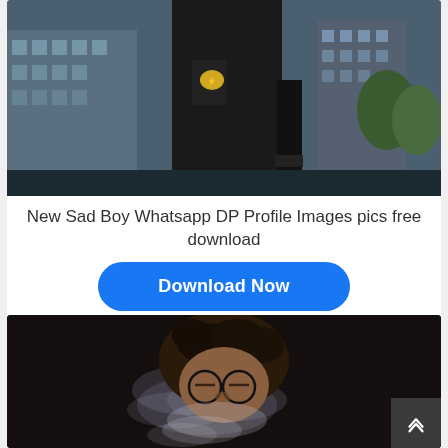[Figure (photo): Person in dark outfit with a Pikachu patch on bag, standing in urban environment with tall glass buildings in background. Urban streetwear style photo.]
New Sad Boy Whatsapp DP Profile Images pics free download
Download Now
[Figure (photo): Young man with curly hair and glasses, smoke visible around face, dark moody background. Sad boy aesthetic photo.]